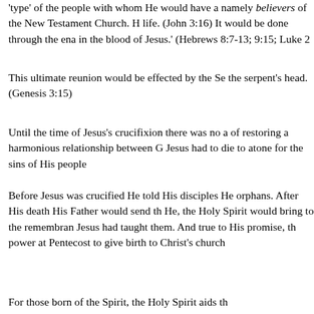'type' of the people with whom He would have a namely believers of the New Testament Church. H life. (John 3:16) It would be done through the ena in the blood of Jesus.' (Hebrews 8:7-13; 9:15; Luke 2
This ultimate reunion would be effected by the Se the serpent's head. (Genesis 3:15)
Until the time of Jesus's crucifixion there was no a of restoring a harmonious relationship between G Jesus had to die to atone for the sins of His people
Before Jesus was crucified He told His disciples He orphans. After His death His Father would send th He, the Holy Spirit would bring to the remembran Jesus had taught them. And true to His promise, th power at Pentecost to give birth to Christ's church
For those born of the Spirit, the Holy Spirit aids th